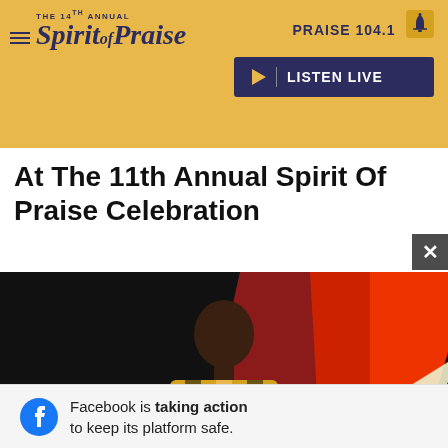THE 14TH ANNUAL Spirit of Praise | PRAISE 104.1 | LISTEN LIVE
At The 11th Annual Spirit Of Praise Celebration
[Figure (photo): A man wearing a yellow floral blazer and yellow shirt holds a microphone on a dark stage with red and white light streaks in the background.]
Facebook is taking action to keep its platform safe.